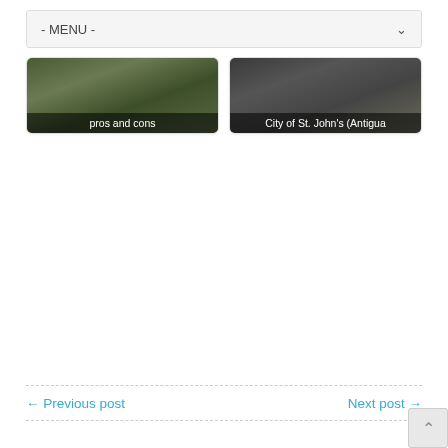- MENU -
[Figure (photo): Thumbnail image with dark forest/nature background, labeled 'pros and cons']
[Figure (photo): Thumbnail image with dark urban/city background, labeled 'City of St. John's (Antigua']
← Previous post
Next post →